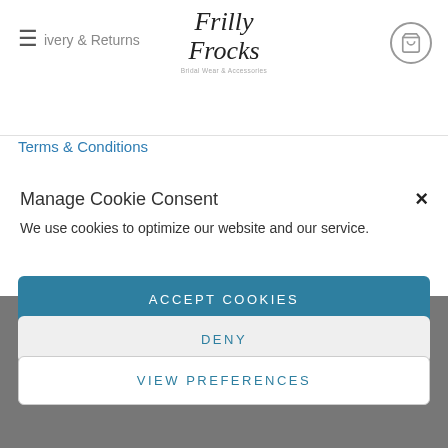ivery & Returns
[Figure (logo): Frilly Frocks script logo with subtitle 'Bridal Wear & Accessories']
Terms & Conditions
Manage Cookie Consent
We use cookies to optimize our website and our service.
ACCEPT COOKIES
DENY
VIEW PREFERENCES
Drogheda,
Co. Louth,
A92 VX32